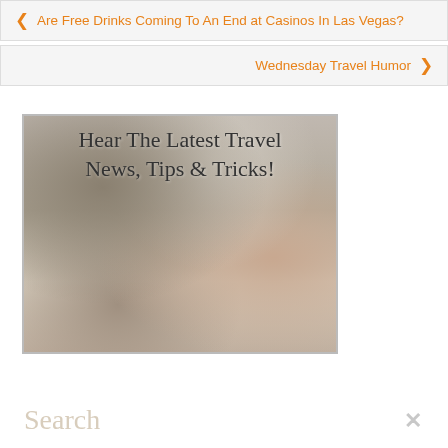← Are Free Drinks Coming To An End at Casinos In Las Vegas?
Wednesday Travel Humor →
[Figure (photo): Blurred photo of Eiffel Tower with a hand holding a mobile phone in the foreground, with overlaid text: 'Hear The Latest Travel News, Tips & Tricks!']
Search
✕